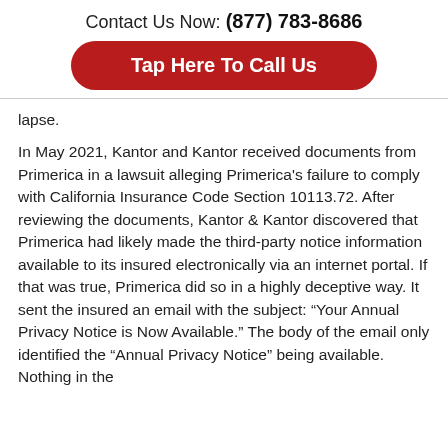Contact Us Now: (877) 783-8686
Tap Here To Call Us
lapse.
In May 2021, Kantor and Kantor received documents from Primerica in a lawsuit alleging Primerica’s failure to comply with California Insurance Code Section 10113.72. After reviewing the documents, Kantor & Kantor discovered that Primerica had likely made the third-party notice information available to its insured electronically via an internet portal. If that was true, Primerica did so in a highly deceptive way. It sent the insured an email with the subject: “Your Annual Privacy Notice is Now Available.” The body of the email only identified the “Annual Privacy Notice” being available. Nothing in the